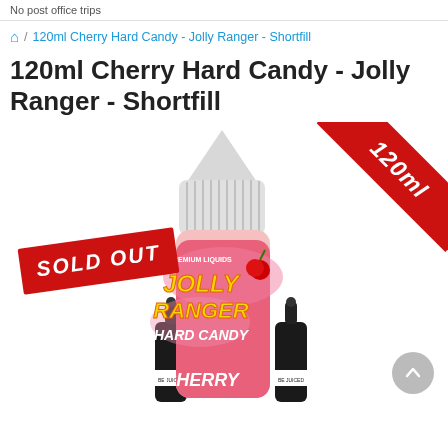No post office trips
🏠 / 120ml Cherry Hard Candy - Jolly Ranger - Shortfill
120ml Cherry Hard Candy - Jolly Ranger - Shortfill
[Figure (photo): Product photo of Jolly Ranger Hard Candy Cherry 120ml shortfill e-liquid bottle, with a large red SOLD OUT banner overlay on the left and a red corner ribbon showing '120ml' on the upper right. Two smaller dropper bottles are visible on the left and right sides at the bottom.]